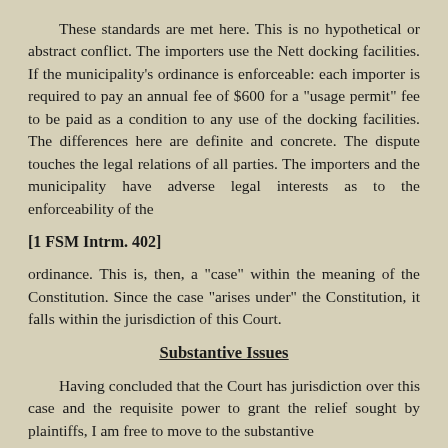These standards are met here. This is no hypothetical or abstract conflict. The importers use the Nett docking facilities. If the municipality's ordinance is enforceable: each importer is required to pay an annual fee of $600 for a "usage permit" fee to be paid as a condition to any use of the docking facilities. The differences here are definite and concrete. The dispute touches the legal relations of all parties. The importers and the municipality have adverse legal interests as to the enforceability of the
[1 FSM Intrm. 402]
ordinance. This is, then, a "case" within the meaning of the Constitution. Since the case "arises under" the Constitution, it falls within the jurisdiction of this Court.
Substantive Issues
Having concluded that the Court has jurisdiction over this case and the requisite power to grant the relief sought by plaintiffs, I am free to move to the substantive